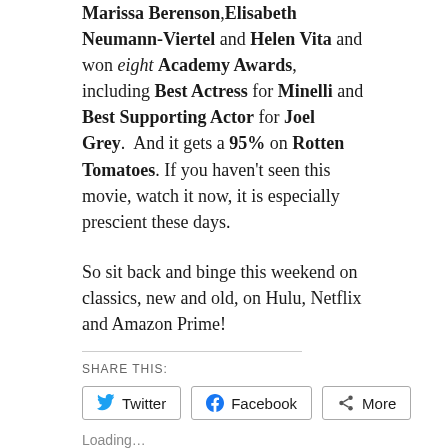Marissa Berenson, Elisabeth Neumann-Viertel and Helen Vita and won eight Academy Awards, including Best Actress for Minelli and Best Supporting Actor for Joel Grey.  And it gets a 95% on Rotten Tomatoes. If you haven't seen this movie, watch it now, it is especially prescient these days.
So sit back and binge this weekend on classics, new and old, on Hulu, Netflix and Amazon Prime!
SHARE THIS:
Twitter   Facebook   More
Loading…
RELATED:
New Movies and TV to Stream, August 6